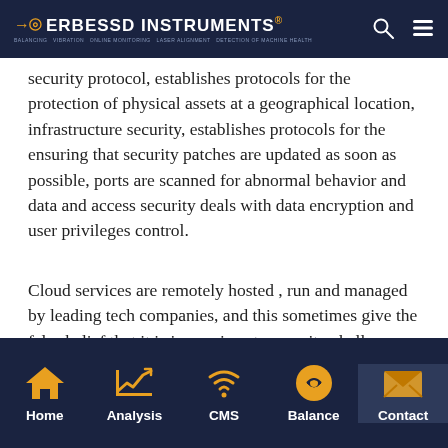ERBESSD INSTRUMENTS
security protocol, establishes protocols for the protection of physical assets at a geographical location, infrastructure security, establishes protocols for the ensuring that security patches are updated as soon as possible, ports are scanned for abnormal behavior and data and access security deals with data encryption and user privileges control.
Cloud services are remotely hosted , run and managed by leading tech companies, and this sometimes give the false belief that it is impervious to security challenges. (Fred, 2018) highlights some security challenges that cloud services face such as;
Home | Analysis | CMS | Balance | Contact